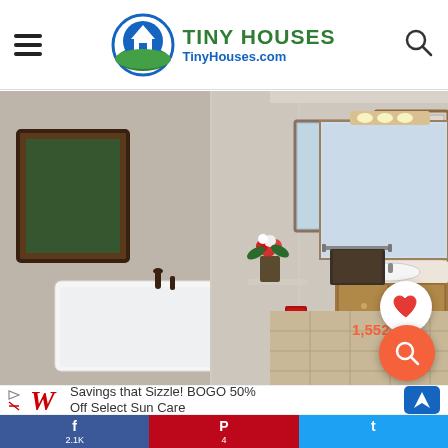TINY HOUSES TinyHouses.com
[Figure (photo): Interior bathroom photo showing a white soaking bathtub with dark faucet on the left side, decorative flower arrangement on a shelf, framed wall art, and on the right side a bathroom vanity with mirror, towel bar with dark towel, and doorway to a closet. Tile flooring visible. Heart icon with 1,552 likes and orange search button overlay.]
[Figure (advertisement): Walgreens advertisement banner: Savings that Sizzle! BOGO 50% Off Select Sun Care]
f 2.1K   P 4   t